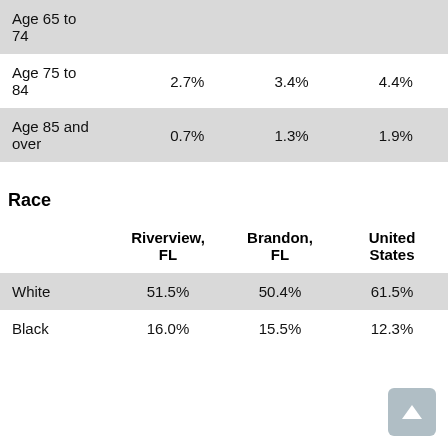|  | Riverview, FL | Brandon, FL | United States |
| --- | --- | --- | --- |
| Age 65 to 74 |  |  |  |
| Age 75 to 84 | 2.7% | 3.4% | 4.4% |
| Age 85 and over | 0.7% | 1.3% | 1.9% |
Race
|  | Riverview, FL | Brandon, FL | United States |
| --- | --- | --- | --- |
| White | 51.5% | 50.4% | 61.5% |
| Black | 16.0% | 15.5% | 12.3% |